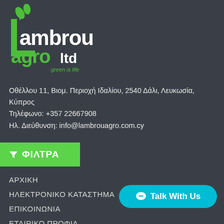[Figure (logo): Lambrou Agro Ltd green is life logo — white and green text with leaf motif]
Οθέλλου 11, Βιομ. Περιοχή Ιδαλίου, 2540 Δάλι, Λευκωσία, Κύπρος
Τηλέφωνο: +357 22667908
Ηλ. Διεύθυνση: info@lambrouagro.com.cy
[Figure (other): Green filter button with funnel icon and bold text ΦΙΛΤΡΑ]
ΑΡΧΙΚΗ
ΗΛΕΚΤΡΟΝΙΚΟ ΚΑΤΑΣΤΗΜΑ
ΕΠΙΚΟΙΝΩΝΙΑ
ΕΤΑΙΡΙΚΟ ΠΡΟΦΙΛ
ΝΕΑ & ΕΚΔΗΛΩΣΕΙΣ
ΠΙΣΤΟΠΟΙΗΤΙΚΑ
ΚΑΤΑΛΟΓΟΙ ΠΡΟΙΟΝΤΩΝ
[Figure (other): Cyan rounded button with speech bubble icon and text Talk With Us]